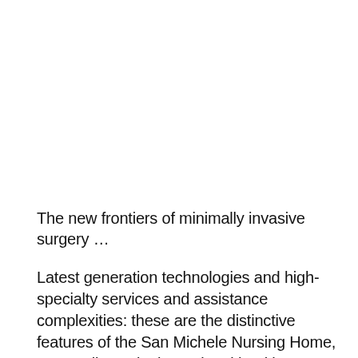The new frontiers of minimally invasive surgery …
Latest generation technologies and high-specialty services and assistance complexities: these are the distinctive features of the San Michele Nursing Home, an excellence in the national healthcare scene. In addition, sixty years of life, the health structure of Maddaloni has invested heavily in technological